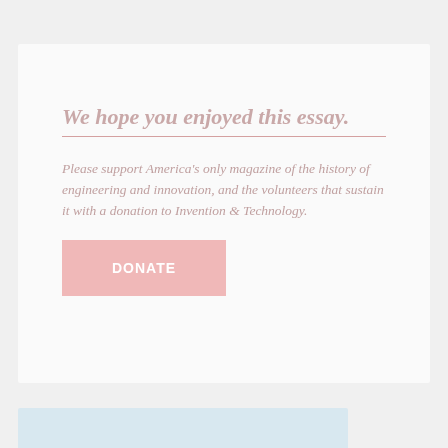We hope you enjoyed this essay.
Please support America's only magazine of the history of engineering and innovation, and the volunteers that sustain it with a donation to Invention & Technology.
DONATE